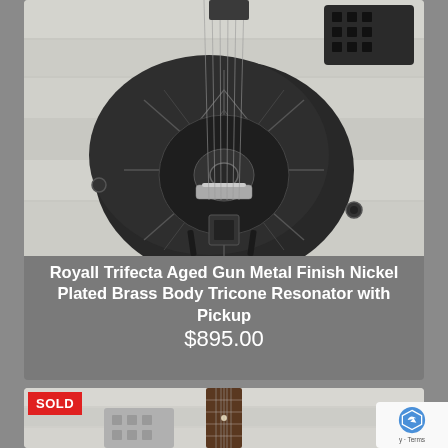[Figure (photo): Royall Trifecta resonator guitar with aged gun metal finish, dark body with etched geometric pattern, metal biscuit bridge, on a guitar stand against white wood plank background]
Royall Trifecta Aged Gun Metal Finish Nickel Plated Brass Body Tricone Resonator with Pickup
$895.00
[Figure (photo): Partial view of another resonator guitar with nickel/silver finish, against white wood plank background. Has a SOLD badge overlay.]
SOLD